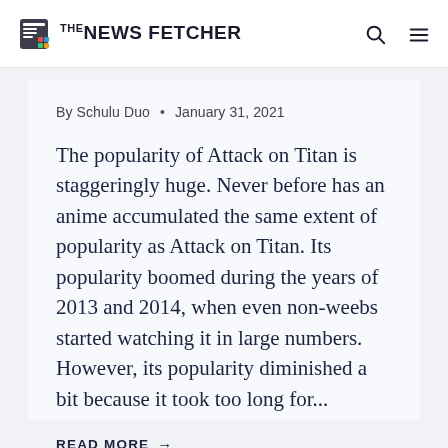THE NEWS FETCHER
By Schulu Duo • January 31, 2021
The popularity of Attack on Titan is staggeringly huge. Never before has an anime accumulated the same extent of popularity as Attack on Titan. Its popularity boomed during the years of 2013 and 2014, when even non-weebs started watching it in large numbers. However, its popularity diminished a bit because it took too long for...
READ MORE →